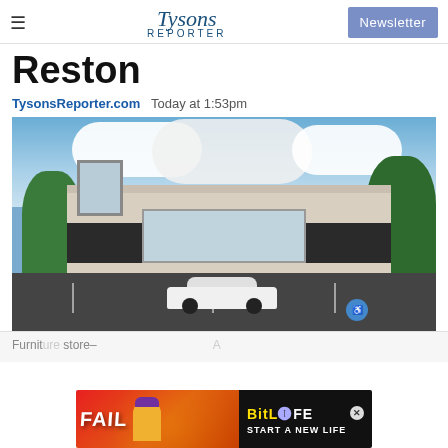Tysons Reporter — Newsletter
Reston
TysonsReporter.com   Today at 1:53pm
[Figure (photo): Exterior photo of a Beauty Nail Bar storefront with a white car parked in front, dark awning with white signage, trees on either side, and cloudy blue sky above.]
Furnit[ure] store– A
[Figure (photo): Advertisement overlay: BitLife 'FAIL – START A NEW LIFE' game ad with orange-red fire background.]